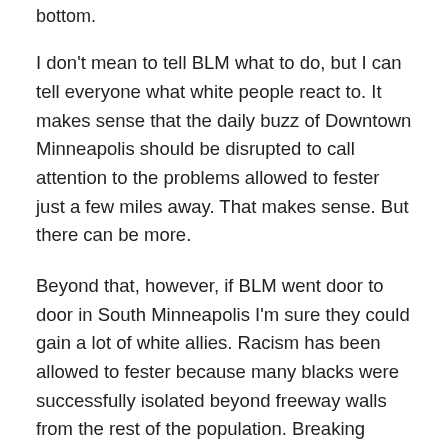bottom.
I don't mean to tell BLM what to do, but I can tell everyone what white people react to. It makes sense that the daily buzz of Downtown Minneapolis should be disrupted to call attention to the problems allowed to fester just a few miles away. That makes sense. But there can be more.
Beyond that, however, if BLM went door to door in South Minneapolis I'm sure they could gain a lot of white allies. Racism has been allowed to fester because many blacks were successfully isolated beyond freeway walls from the rest of the population. Breaking down those walls and working towards one city for all would only increase the possibility of real progress.
Where will this go? Ultimately the system has to change – from top to bottom and throughout City Hall. This cannot